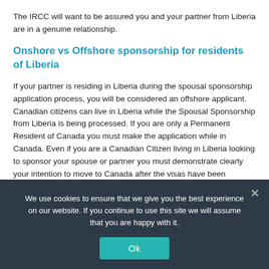The IRCC will want to be assured you and your partner from Liberia are in a genuine relationship.
Onshore vs Offshore sponsorship for residents of Liberia
If your partner is residing in Liberia during the spousal sponsorship application process, you will be considered an offshore applicant. Canadian citizens can live in Liberia while the Spousal Sponsorship from Liberia is being processed. If you are only a Permanent Resident of Canada you must make the application while in Canada. Even if you are a Canadian Citizen living in Liberia looking to sponsor your spouse or partner you must demonstrate clearly your intention to move to Canada after the visas have been granted.
If you and your partner from Liberia are already living in Canada, you will usually be classed as an onshore Spousal Sponsorship case. The benefit of an inshore application is that
We use cookies to ensure that we give you the best experience on our website. If you continue to use this site we will assume that you are happy with it.